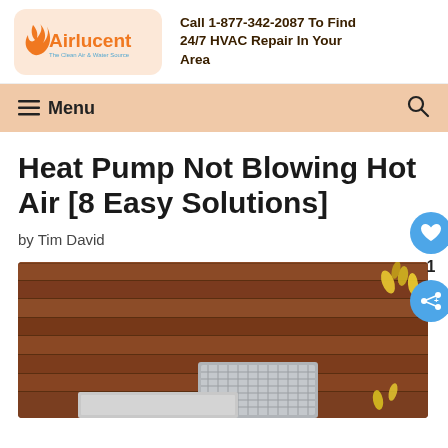[Figure (logo): Airlucent logo with flame icon on peach background, tagline: The Clean Air & Water Source]
Call 1-877-342-2087 To Find 24/7 HVAC Repair In Your Area
Menu (navigation bar with hamburger icon and search icon)
Heat Pump Not Blowing Hot Air [8 Easy Solutions]
by Tim David
[Figure (photo): Outdoor HVAC unit mounted against a wood siding wall with yellow flowers visible]